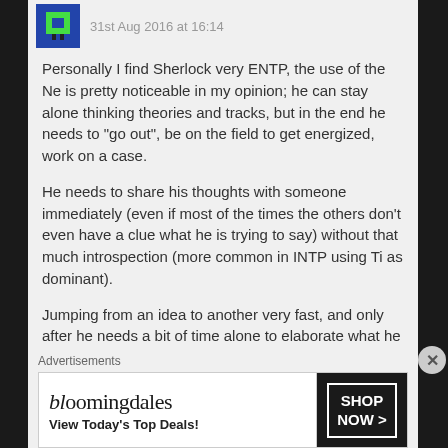31st Aug 2016 at 16:14
Personally I find Sherlock very ENTP, the use of the Ne is pretty noticeable in my opinion; he can stay alone thinking theories and tracks, but in the end he needs to "go out", be on the field to get energized, work on a case.
He needs to share his thoughts with someone immediately (even if most of the times the others don't even have a clue what he is trying to say) without that much introspection (more common in INTP using Ti as dominant).
Jumping from an idea to another very fast, and only after he needs a bit of time alone to elaborate what he deducted; seems very Ne -> Ti in my opinion (ENTP).
Almost a stereotype of an ENTP.
Advertisements
[Figure (other): Bloomingdale's advertisement banner with 'View Today's Top Deals!' and 'SHOP NOW >' button]